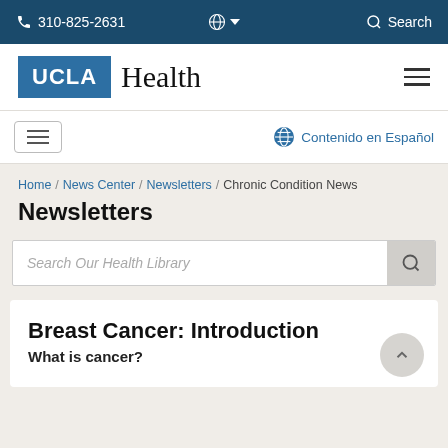310-825-2631  Search
[Figure (logo): UCLA Health logo with blue UCLA box and serif Health text]
Contenido en Español
Home / News Center / Newsletters / Chronic Condition News
Newsletters
Search Our Health Library
Breast Cancer: Introduction
What is cancer?